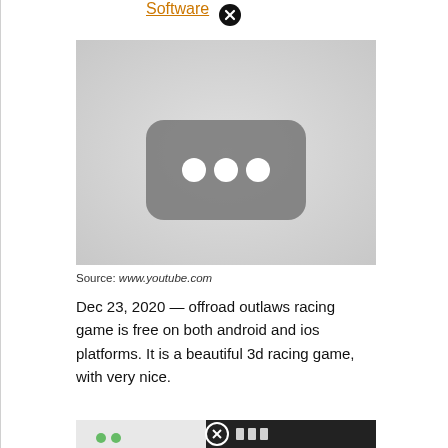Software
[Figure (screenshot): YouTube video placeholder thumbnail — grey background with a dark rounded rectangle containing three white dots (loading indicator)]
Source: www.youtube.com
Dec 23, 2020 — offroad outlaws racing game is free on both android and ios platforms. It is a beautiful 3d racing game, with very nice.
[Figure (screenshot): Partial screenshot of a mobile game interface with icons and a close button overlay]